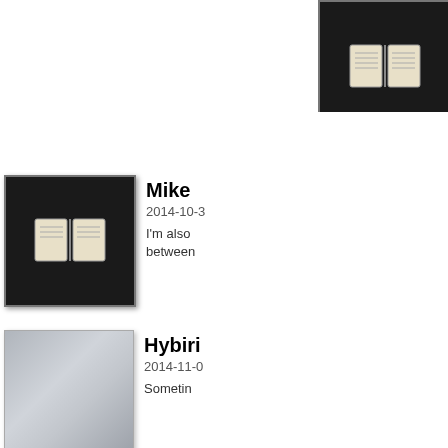[Figure (photo): Book icon thumbnail at top right, partially cropped]
Mike
2014-10-3
I'm also between
Hybiri
2014-11-0
Sometin
Pneum
2014-11-0
He's ven a term o
Lycan
2014-11-0
Does an